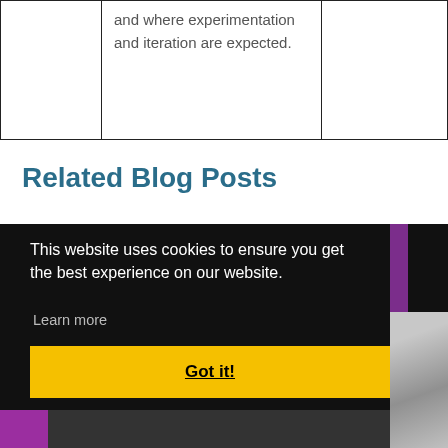|  |  |  |
| --- | --- | --- |
|  | and where experimentation and iteration are expected. |  |
Related Blog Posts
This website uses cookies to ensure you get the best experience on our website.
Learn more
Got it!
[Figure (photo): Blog post thumbnail photo showing a student working, partially visible on the right side of the page]